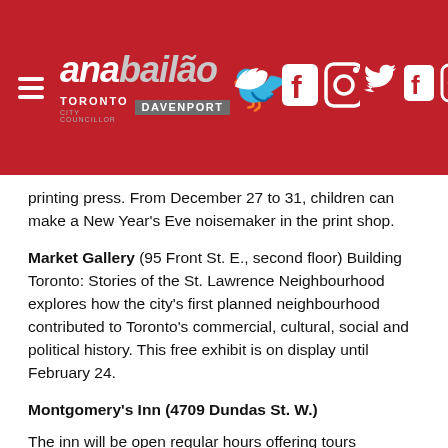ana bailão – Toronto City Councillor Davenport
printing press. From December 27 to 31, children can make a New Year's Eve noisemaker in the print shop.
Market Gallery (95 Front St. E., second floor) Building Toronto: Stories of the St. Lawrence Neighbourhood explores how the city's first planned neighbourhood contributed to Toronto's commercial, cultural, social and political history. This free exhibit is on display until February 24.
Montgomery's Inn (4709 Dundas St. W.)
The inn will be open regular hours offering tours throughout the holiday season, though the weekly farmers market will not run December 27 and January 3.
Scarborough Museum (1007 Brimley Rd.)
On December 27 to 29 and January 2 to 5, the museum